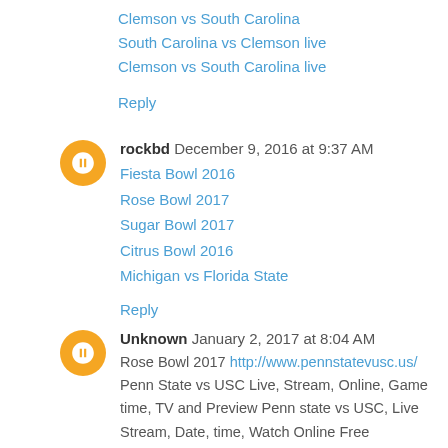Clemson vs South Carolina
South Carolina vs Clemson live
Clemson vs South Carolina live
Reply
rockbd December 9, 2016 at 9:37 AM
Fiesta Bowl 2016
Rose Bowl 2017
Sugar Bowl 2017
Citrus Bowl 2016
Michigan vs Florida State
Reply
Unknown January 2, 2017 at 8:04 AM
Rose Bowl 2017 http://www.pennstatevusc.us/ Penn State vs USC Live, Stream, Online, Game time, TV and Preview Penn state vs USC, Live Stream, Date, time, Watch Online Free